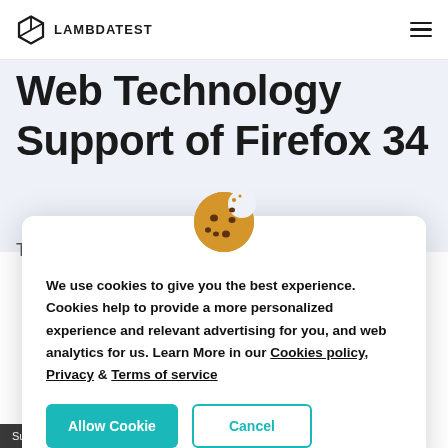LAMBDATEST
Web Technology Support of Firefox 34
To create a automation testing strategy for
[Figure (illustration): Cookie emoji icon — brown cookie with chocolate chips and a bite taken out]
We use cookies to give you the best experience. Cookies help to provide a more personalized experience and relevant advertising for you, and web analytics for us. Learn More in our Cookies policy, Privacy & Terms of service
Allow Cookie   Cancel
Supported (no prefixes needed)